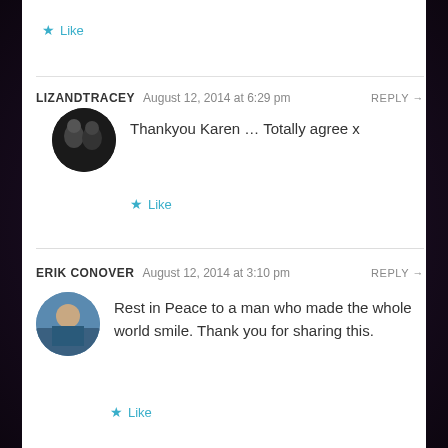Like
LIZANDTRACEY  August 12, 2014 at 6:29 pm  REPLY →
Thankyou Karen … Totally agree x
Like
ERIK CONOVER  August 12, 2014 at 3:10 pm  REPLY →
Rest in Peace to a man who made the whole world smile. Thank you for sharing this.
Like